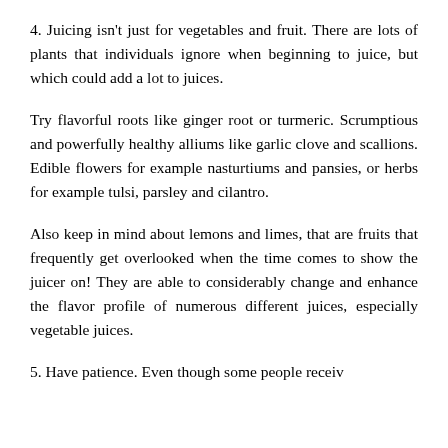4. Juicing isn't just for vegetables and fruit. There are lots of plants that individuals ignore when beginning to juice, but which could add a lot to juices.
Try flavorful roots like ginger root or turmeric. Scrumptious and powerfully healthy alliums like garlic clove and scallions. Edible flowers for example nasturtiums and pansies, or herbs for example tulsi, parsley and cilantro.
Also keep in mind about lemons and limes, that are fruits that frequently get overlooked when the time comes to show the juicer on! They are able to considerably change and enhance the flavor profile of numerous different juices, especially vegetable juices.
5. Have patience. Even though some people receiv…